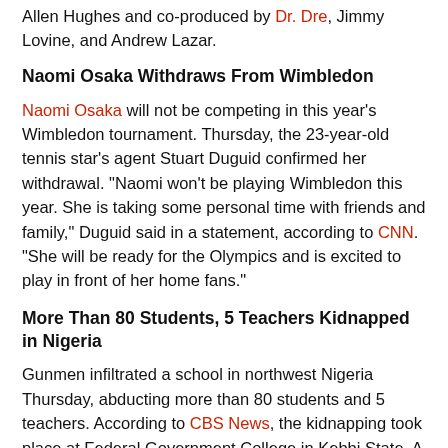Allen Hughes and co-produced by Dr. Dre, Jimmy Lovine, and Andrew Lazar.
Naomi Osaka Withdraws From Wimbledon
Naomi Osaka will not be competing in this year's Wimbledon tournament. Thursday, the 23-year-old tennis star's agent Stuart Duguid confirmed her withdrawal. "Naomi won't be playing Wimbledon this year. She is taking some personal time with friends and family," Duguid said in a statement, according to CNN. "She will be ready for the Olympics and is excited to play in front of her home fans."
More Than 80 Students, 5 Teachers Kidnapped in Nigeria
Gunmen infiltrated a school in northwest Nigeria Thursday, abducting more than 80 students and 5 teachers. According to CBS News, the kidnapping took place at Federal Government College in Kebbi State. A teacher at the school told Reuters that assailants shot a police officer before